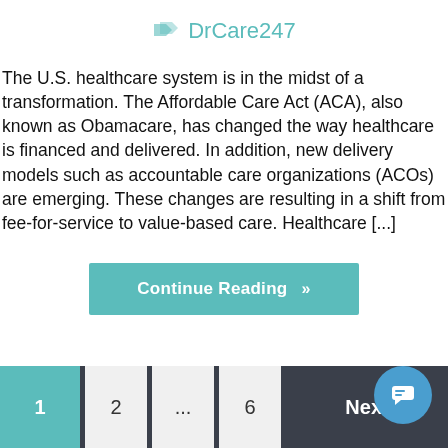DrCare247
The U.S. healthcare system is in the midst of a transformation. The Affordable Care Act (ACA), also known as Obamacare, has changed the way healthcare is financed and delivered. In addition, new delivery models such as accountable care organizations (ACOs) are emerging. These changes are resulting in a shift from fee-for-service to value-based care. Healthcare [...]
Continue Reading »
1  2  ...  6  Next